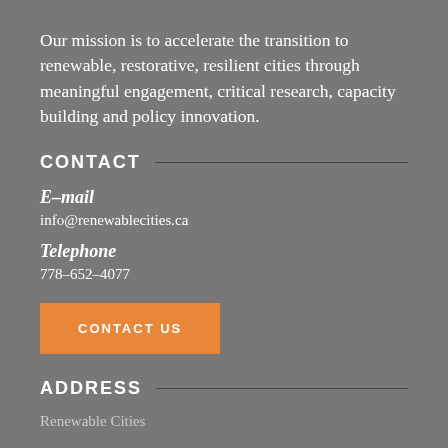Our mission is to accelerate the transition to renewable, restorative, resilient cities through meaningful engagement, critical research, capacity building and policy innovation.
CONTACT
E-mail
info@renewablecities.ca
Telephone
778-652-4077
CONTACT US
ADDRESS
Renewable Cities